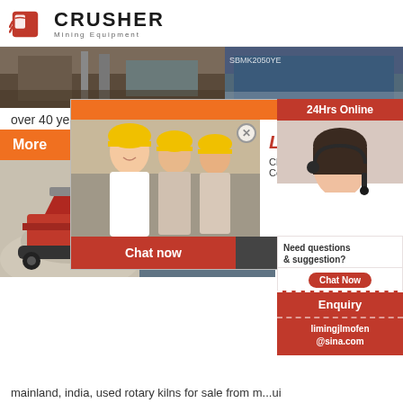[Figure (logo): Crusher Mining Equipment logo with red shopping bag icon and bold CRUSHER text]
[Figure (photo): Two industrial/mining facility photos side by side showing equipment and structures]
over 40 years.
[Figure (photo): Live chat popup overlay with workers in hard hats, LIVE CHAT title, Chat now and Chat later buttons]
[Figure (photo): Right sidebar showing 24Hrs Online, customer service agent with headset, Need questions & suggestion, Chat Now button, Enquiry section, limingjlmofen@sina.com email]
[Figure (photo): Two bottom mining equipment photos: red mobile crusher on gravel pile left, industrial silos right]
mainland, india, used rotary kilns for sale from m...ui